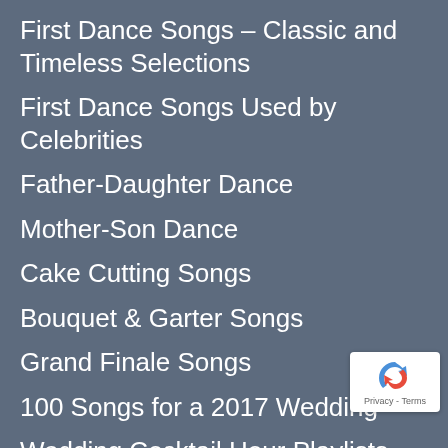First Dance Songs – Classic and Timeless Selections
First Dance Songs Used by Celebrities
Father-Daughter Dance
Mother-Son Dance
Cake Cutting Songs
Bouquet & Garter Songs
Grand Finale Songs
100 Songs for a 2017 Wedding
Wedding Cocktail Hour Playlists
25 Songs for a California / West Coast Wedding
[Figure (logo): reCAPTCHA badge with recycling-style arrow logo and Privacy - Terms text]